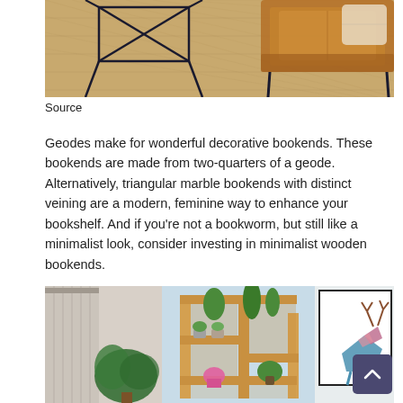[Figure (photo): Interior scene with a woven jute rug, black metal geometric side table, and tan leather chair with cushion]
Source
Geodes make for wonderful decorative bookends. These bookends are made from two-quarters of a geode. Alternatively, triangular marble bookends with distinct veining are a modern, feminine way to enhance your bookshelf. And if you’re not a bookworm, but still like a minimalist look, consider investing in minimalist wooden bookends.
[Figure (photo): Collage of a room with curtains and plants on the left, wooden modular shelving unit with potted plants in the center, and a framed geometric deer art print on the right]